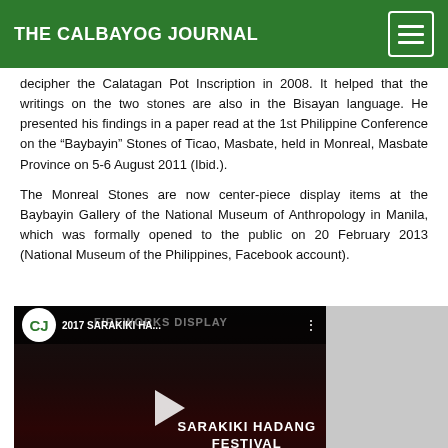THE CALBAYOG JOURNAL
decipher the Calatagan Pot Inscription in 2008. It helped that the writings on the two stones are also in the Bisayan language. He presented his findings in a paper read at the 1st Philippine Conference on the “Baybayin” Stones of Ticao, Masbate, held in Monreal, Masbate Province on 5-6 August 2011 (Ibid.).
The Monreal Stones are now center-piece display items at the Baybayin Gallery of the National Museum of Anthropology in Manila, which was formally opened to the public on 20 February 2013 (National Museum of the Philippines, Facebook account).
[Figure (screenshot): Embedded video thumbnail for '2017 SARAKIKI HA...' from The Calbayog Journal, showing fireworks display and SARAKIKI HADANG FESTIVAL 2017 text with play button overlay]